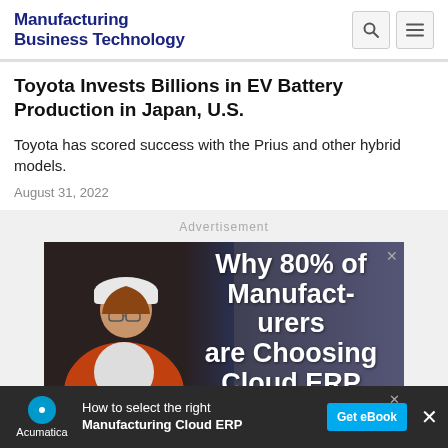Manufacturing Business Technology
Toyota Invests Billions in EV Battery Production in Japan, U.S.
Toyota has scored success with the Prius and other hybrid models.
August 31, 2022
[Figure (infographic): Advertisement banner: A woman in hard hat and orange safety vest looking upward in a factory setting, with overlaid text reading 'Why 80% of Manufacturers are Choosing Cloud ERP']
[Figure (infographic): Acumatica bottom banner advertisement: 'How to select the right Manufacturing Cloud ERP' with 'Get eBook' button]